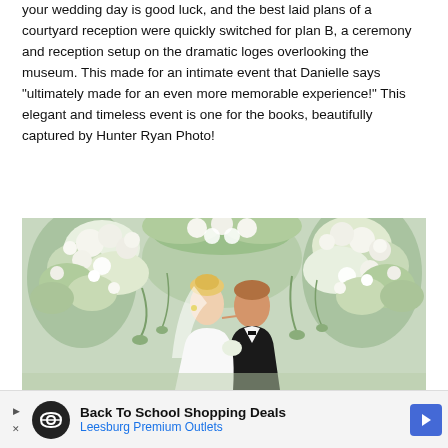your wedding day is good luck, and the best laid plans of a courtyard reception were quickly switched for plan B, a ceremony and reception setup on the dramatic loges overlooking the museum. This made for an intimate event that Danielle says "ultimately made for an even more memorable experience!" This elegant and timeless event is one for the books, beautifully captured by Hunter Ryan Photo!
SEE IT
[Figure (photo): Wedding couple kissing under a large floral arch made of white roses and lush green foliage. The bride is in a white gown and the groom is in a black tuxedo. The background is softly blurred greenery.]
Back To School Shopping Deals
Leesburg Premium Outlets